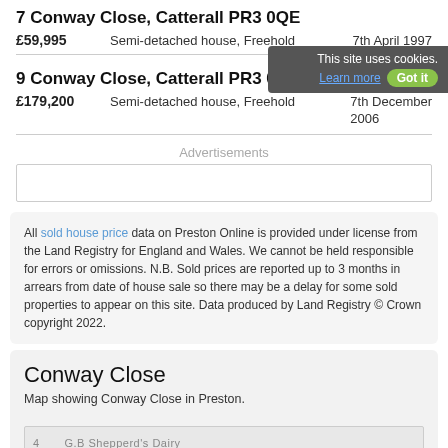7 Conway Close, Catterall PR3 0QE
£59,995   Semi-detached house, Freehold   7th April 1997
9 Conway Close, Catterall PR3 0QE
£179,200   Semi-detached house, Freehold   7th December 2006
Advertisements
All sold house price data on Preston Online is provided under license from the Land Registry for England and Wales. We cannot be held responsible for errors or omissions. N.B. Sold prices are reported up to 3 months in arrears from date of house sale so there may be a delay for some sold properties to appear on this site. Data produced by Land Registry © Crown copyright 2022.
Conway Close
Map showing Conway Close in Preston.